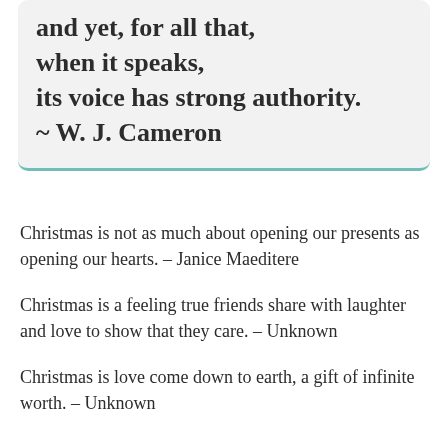and yet, for all that, when it speaks, its voice has strong authority. ~ W. J. Cameron
Christmas is not as much about opening our presents as opening our hearts. – Janice Maeditere
Christmas is a feeling true friends share with laughter and love to show that they care. – Unknown
Christmas is love come down to earth, a gift of infinite worth. – Unknown